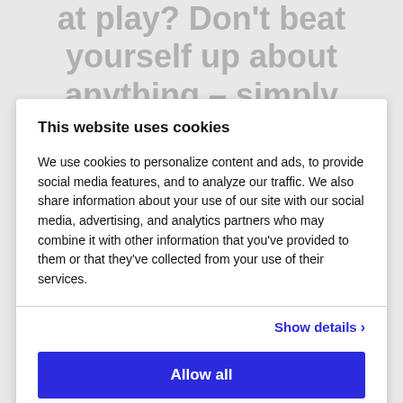at play? Don't beat yourself up about anything – simply observe your
This website uses cookies
We use cookies to personalize content and ads, to provide social media features, and to analyze our traffic. We also share information about your use of our site with our social media, advertising, and analytics partners who may combine it with other information that you've provided to them or that they've collected from your use of their services.
Show details >
Allow all
Customize >
7. Forgiveness.